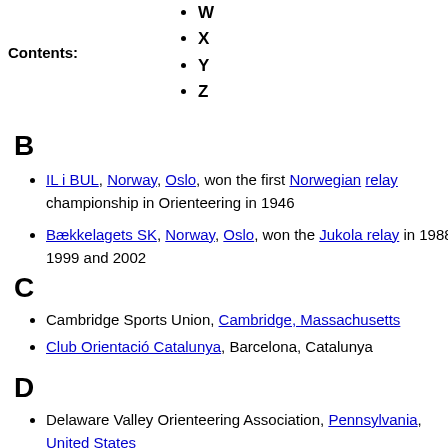W
X
Y
Z
B
IL i BUL, Norway, Oslo, won the first Norwegian relay championship in Orienteering in 1946
Bækkelagets SK, Norway, Oslo, won the Jukola relay in 1988, 1999 and 2002
C
Cambridge Sports Union, Cambridge, Massachusetts
Club Orientació Catalunya, Barcelona, Catalunya
D
Delaware Valley Orienteering Association, Pennsylvania, United States